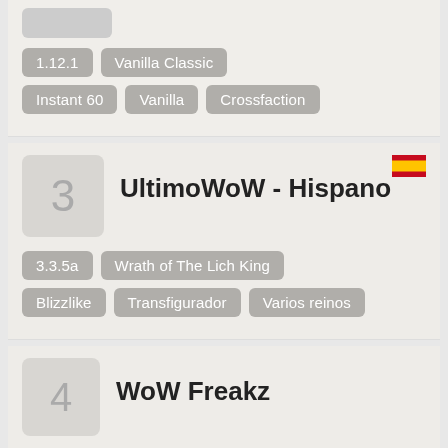[Figure (screenshot): Partial top card with image placeholder and tags: 1.12.1, Vanilla Classic, Instant 60, Vanilla, Crossfaction]
UltimoWoW - Hispano
3.3.5a
Wrath of The Lich King
Blizzlike
Transfigurador
Varios reinos
WoW Freakz
Shadowlands
Wow Server